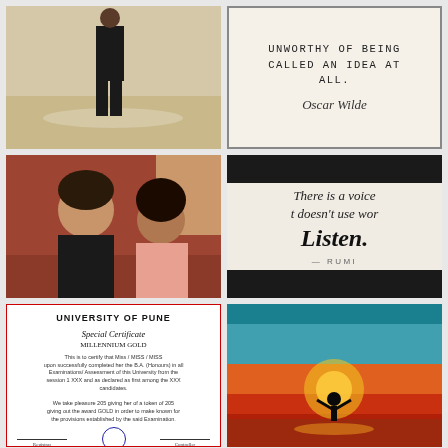[Figure (photo): Person walking in water or sand, photo from behind, wearing dark clothing]
[Figure (photo): Quote card with Oscar Wilde quote: AN IDEA THAT IS NOT DANGEROUS IS UNWORTHY OF BEING CALLED AN IDEA AT ALL. Oscar Wilde]
[Figure (photo): Two young women smiling at a table in a restaurant or cafe]
[Figure (photo): Quote card with Rumi quote: There is a voice that doesn't use words. Listen. - RUMI, with floral border]
[Figure (photo): University of Pune Special Certificate document with red border, emblem, body text and signatures]
[Figure (photo): Silhouette of person with arms raised at sunset over water]